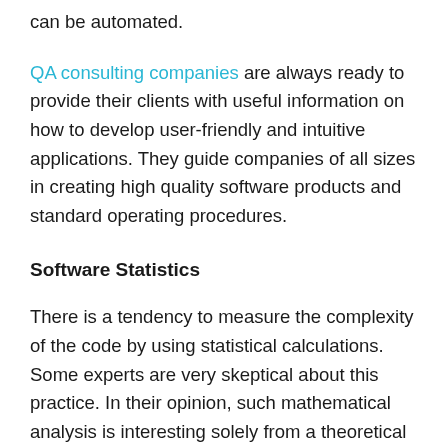can be automated.
QA consulting companies are always ready to provide their clients with useful information on how to develop user-friendly and intuitive applications. They guide companies of all sizes in creating high quality software products and standard operating procedures.
Software Statistics
There is a tendency to measure the complexity of the code by using statistical calculations. Some experts are very skeptical about this practice. In their opinion, such mathematical analysis is interesting solely from a theoretical point of